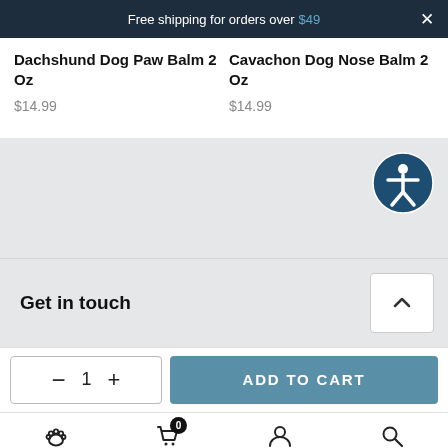Free shipping for orders over $49
Dachshund Dog Paw Balm 2 Oz
$14.99
Cavachon Dog Nose Balm 2 Oz
$14.99
[Figure (other): Accessibility icon button (person in circle) on gray background]
Get in touch
1   ADD TO CART
Breeds  Cart 0  Account  Search